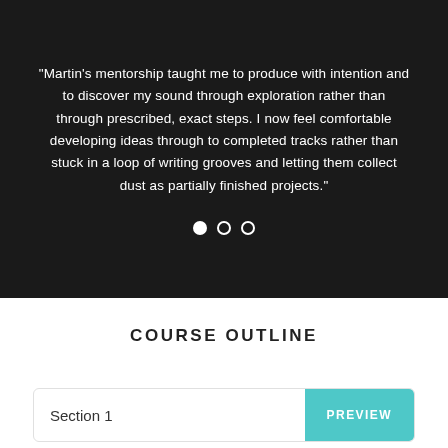“Martin's mentorship taught me to produce with intention and to discover my sound through exploration rather than through prescribed, exact steps. I now feel comfortable developing ideas through to completed tracks rather than stuck in a loop of writing grooves and letting them collect dust as partially finished projects.”
[Figure (other): Carousel indicator dots: one filled white circle and two empty circles]
COURSE OUTLINE
Section 1
PREVIEW